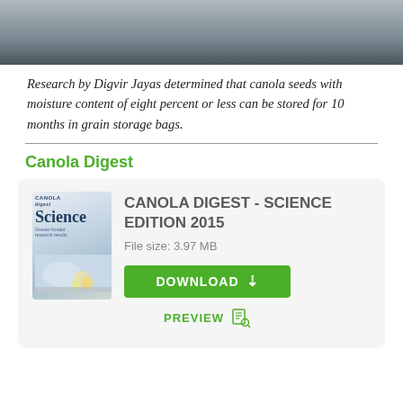[Figure (photo): Top portion of a photo showing a dark/grey background, appears to be grain storage bags or agricultural scene]
Research by Digvir Jayas determined that canola seeds with moisture content of eight percent or less can be stored for 10 months in grain storage bags.
Canola Digest
[Figure (illustration): Card showing Canola Digest Science Edition 2015 publication with cover image, file size 3.97 MB, download button and preview button]